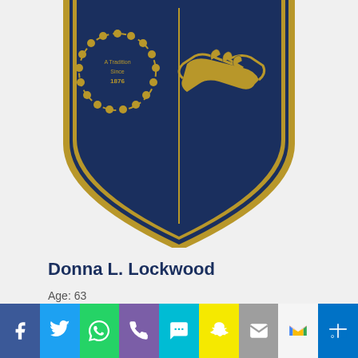[Figure (logo): Blue Cross Blue Shield shield logo in navy blue and gold, partially cropped showing lower half with 'A Tradition Since 1876' text on left and handshake image on right]
Donna L. Lockwood
Age: 63
Date of Death: April 27, 2018
Place of Death: Kalamazoo, MI
[Figure (infographic): Social media sharing bar with icons for Facebook, Twitter, WhatsApp, Phone, SMS, Snapchat, Email, Gmail, Outlook]